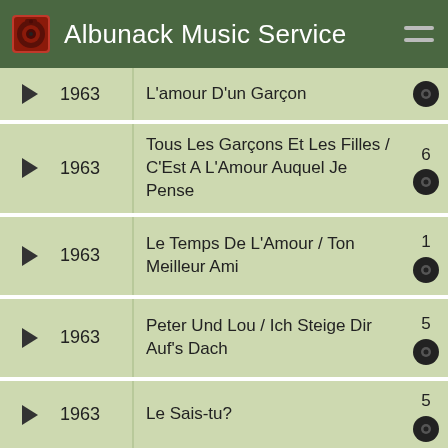Albunack Music Service
1963 | L'amour D'un Garçon
1963 | Tous Les Garçons Et Les Filles / C'Est A L'Amour Auquel Je Pense | 6
1963 | Le Temps De L'Amour / Ton Meilleur Ami | 1
1963 | Peter Und Lou / Ich Steige Dir Auf's Dach | 5
1963 | Le Sais-tu? | 5
1963 | Exitos de Françoise Hardy | 1
1963 | L'Età Dell'Amore | 1
1963 | Va Pas Prendre Un Tambour / J'aurais | 4